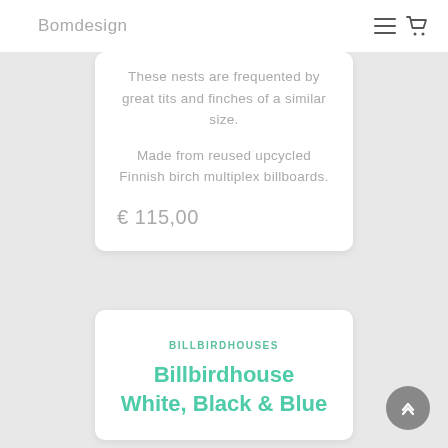Bomdesign
These nests are frequented by great tits and finches of a similar size.

Made from reused upcycled Finnish birch multiplex billboards.

€ 115,00
BILLBIRDHOUSES
Billbirdhouse White, Black & Blue